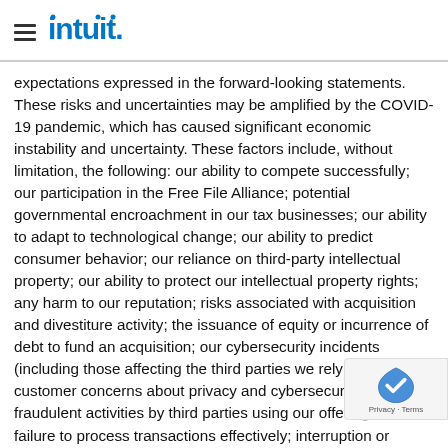Intuit
expectations expressed in the forward-looking statements. These risks and uncertainties may be amplified by the COVID-19 pandemic, which has caused significant economic instability and uncertainty. These factors include, without limitation, the following: our ability to compete successfully; our participation in the Free File Alliance; potential governmental encroachment in our tax businesses; our ability to adapt to technological change; our ability to predict consumer behavior; our reliance on third-party intellectual property; our ability to protect our intellectual property rights; any harm to our reputation; risks associated with acquisition and divestiture activity; the issuance of equity or incurrence of debt to fund an acquisition; our cybersecurity incidents (including those affecting the third parties we rely on); customer concerns about privacy and cybersecurity incidents; fraudulent activities by third parties using our offerings; our failure to process transactions effectively; interruption or failure of our information technology;